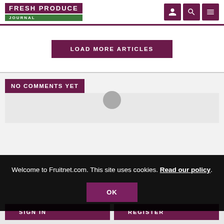FRESH PRODUCE JOURNAL
LOAD MORE ARTICLES
NO COMMENTS YET
Welcome to Fruitnet.com. This site uses cookies. Read our policy.
OK
SIGN IN
REGISTER